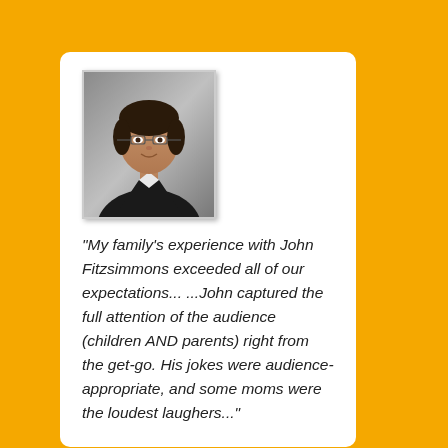[Figure (photo): Headshot photo of a woman with dark hair and glasses, wearing a black top, against a gray background]
“My family’s experience with John Fitzsimmons exceeded all of our expectations... ...John captured the full attention of the audience (children AND parents) right from the get-go. His jokes were audience-appropriate, and some moms were the loudest laughers..."